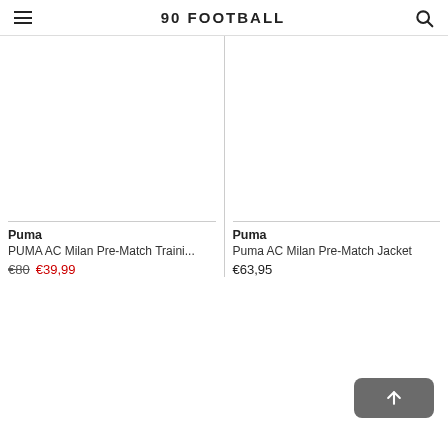90 FOOTBALL
[Figure (other): Product image area for PUMA AC Milan Pre-Match Training item (blank white)]
Puma
PUMA AC Milan Pre-Match Traini...
€80 €39,99
[Figure (other): Product image area for Puma AC Milan Pre-Match Jacket (blank white)]
Puma
Puma AC Milan Pre-Match Jacket
€63,95